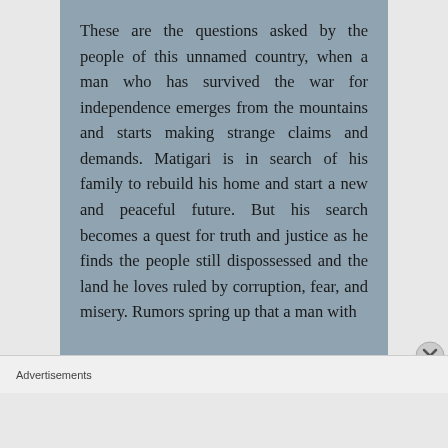These are the questions asked by the people of this unnamed country, when a man who has survived the war for independence emerges from the mountains and starts making strange claims and demands. Matigari is in search of his family to rebuild his home and start a new and peaceful future. But his search becomes a quest for truth and justice as he finds the people still dispossessed and the land he loves ruled by corruption, fear, and misery. Rumors spring up that a man with
Advertisements